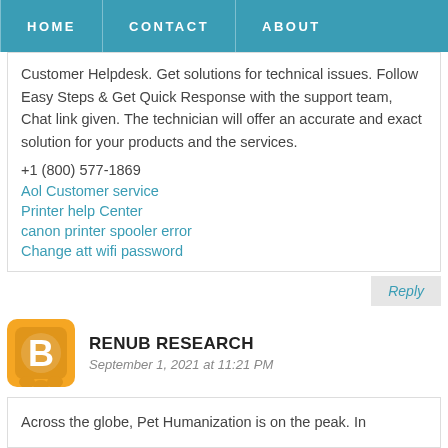HOME   CONTACT   ABOUT
Customer Helpdesk. Get solutions for technical issues. Follow Easy Steps & Get Quick Response with the support team, Chat link given. The technician will offer an accurate and exact solution for your products and the services.
+1 (800) 577-1869
Aol Customer service
Printer help Center
canon printer spooler error
Change att wifi password
Reply
RENUB RESEARCH
September 1, 2021 at 11:21 PM
Across the globe, Pet Humanization is on the peak. In